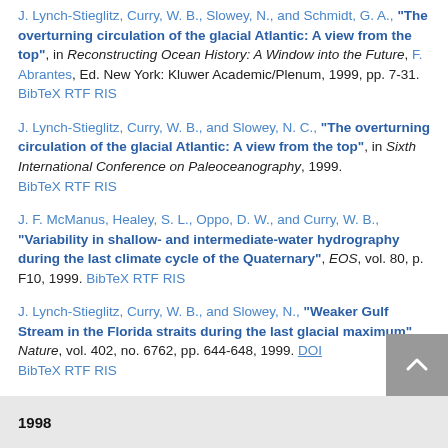J. Lynch-Stieglitz, Curry, W. B., Slowey, N., and Schmidt, G. A., "The overturning circulation of the glacial Atlantic: A view from the top", in Reconstructing Ocean History: A Window into the Future, F. Abrantes, Ed. New York: Kluwer Academic/Plenum, 1999, pp. 7-31. BibTeX RTF RIS
J. Lynch-Stieglitz, Curry, W. B., and Slowey, N. C., "The overturning circulation of the glacial Atlantic: A view from the top", in Sixth International Conference on Paleoceanography, 1999. BibTeX RTF RIS
J. F. McManus, Healey, S. L., Oppo, D. W., and Curry, W. B., "Variability in shallow- and intermediate-water hydrography during the last climate cycle of the Quaternary", EOS, vol. 80, p. F10, 1999. BibTeX RTF RIS
J. Lynch-Stieglitz, Curry, W. B., and Slowey, N., "Weaker Gulf Stream in the Florida straits during the last glacial maximum", Nature, vol. 402, no. 6762, pp. 644-648, 1999. DOI BibTeX RTF RIS
1998